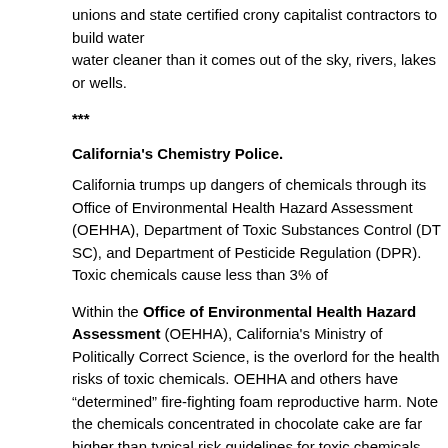unions and state certified crony capitalist contractors to build water water cleaner than it comes out of the sky, rivers, lakes or wells.
***
California's Chemistry Police.
California trumps up dangers of chemicals through its Office of Environmental Health Hazard Assessment (OEHHA), Department of Toxic Substances Control (DTSC), and Department of Pesticide Regulation (DPR). Toxic chemicals cause less than 3% of...
Within the Office of Environmental Health Hazard Assessment (OEHHA), California's Ministry of Politically Correct Science, is the overlord for the health risks of toxic chemicals. OEHHA and others have "determined" fire-fighting foam causes reproductive harm. Note the chemicals concentrated in chocolate cake are far higher than typical risk guidelines for toxic chemicals.
Department of Toxic Substances Control (DTSC). Born, nurtured... thousand employees, the DTSC arose out of public outrage over alarming... toxic chemical waste sites and road spills. Easily deceived citizens blamed... upon some dump, factory, farm, or refinery close by. The Superfund... totalitarian, never ending and immensely profitable to lawyers and r...
DTSC has taken the lead in seeking safer alternatives to toxic chem... California's has thousands working in hazardous waste teams respo... ovetured trucks.